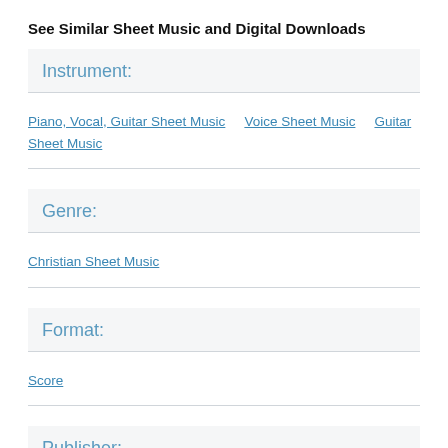See Similar Sheet Music and Digital Downloads
Instrument:
Piano, Vocal, Guitar Sheet Music   Voice Sheet Music   Guitar Sheet Music
Genre:
Christian Sheet Music
Format:
Score
Publisher:
Hal Leonard